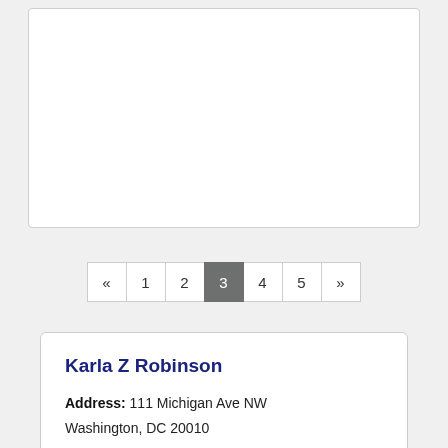« 1 2 3 4 5 » (pagination navigation, page 3 active)
Karla Z Robinson
Address: 111 Michigan Ave NW Washington, DC 20010
Phone: (202) 476-5000